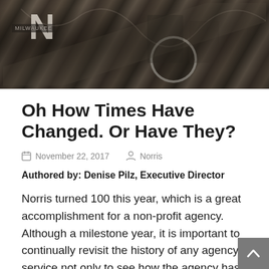[Figure (photo): Black and white historical photograph used as banner image, showing dark tones with an 'N' letter visible and a circular shape, suggestive of a vintage organizational photo.]
Oh How Times Have Changed. Or Have They?
November 22, 2017   Norris
Authored by: Denise Pilz, Executive Director
Norris turned 100 this year, which is a great accomplishment for a non-profit agency. Although a milestone year, it is important to continually revisit the history of any agency’s service not only to see how the agency has evolved, but whether we are smarter about how we deliver that service. How much more